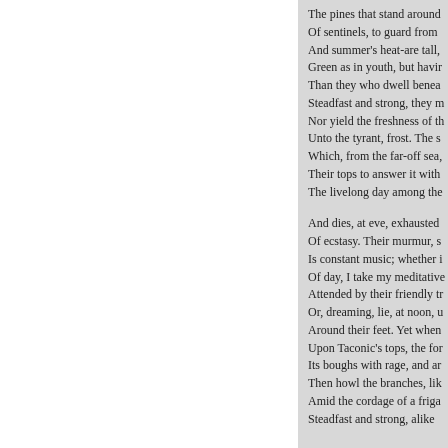The pines that stand around
Of sentinels, to guard from
And summer's heat-are tall,
Green as in youth, but havir
Than they who dwell benea
Stedfast and strong, they m
Nor yield the freshness of th
Unto the tyrant, frost. The s
Which, from the far-off sea,
Their tops to answer it with
The livelong day among the

And dies, at eve, exhausted
Of ecstasy. Their murmur, s
Is constant music; whether i
Of day, I take my meditative
Attended by their friendly tr
Or, dreaming, lie, at noon, u
Around their feet. Yet when
Upon Taconic's tops, the for
Its boughs with rage, and ar
Then howl the branches, lik
Amid the cordage of a friga
Steadfast and strong, alike